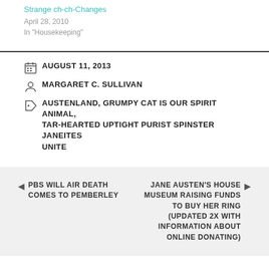Strange ch-ch-Changes
April 28, 2010
In "Housekeeping"
AUGUST 11, 2013
MARGARET C. SULLIVAN
AUSTENLAND, GRUMPY CAT IS OUR SPIRIT ANIMAL, TAR-HEARTED UPTIGHT PURIST SPINSTER JANEITES UNITE
PBS WILL AIR DEATH COMES TO PEMBERLEY
JANE AUSTEN'S HOUSE MUSEUM RAISING FUNDS TO BUY HER RING (UPDATED 2X WITH INFORMATION ABOUT ONLINE DONATING)